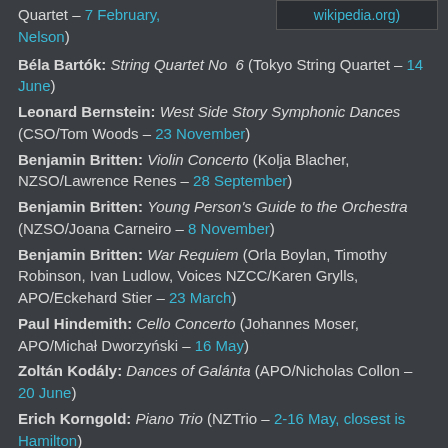Quartet – 7 February, Nelson)
Béla Bartók: String Quartet No 6 (Tokyo String Quartet – 14 June)
Leonard Bernstein: West Side Story Symphonic Dances (CSO/Tom Woods – 23 November)
Benjamin Britten: Violin Concerto (Kolja Blacher, NZSO/Lawrence Renes – 28 September)
Benjamin Britten: Young Person's Guide to the Orchestra (NZSO/Joana Carneiro – 8 November)
Benjamin Britten: War Requiem (Orla Boylan, Timothy Robinson, Ivan Ludlow, Voices NZCC/Karen Grylls, APO/Eckehard Stier – 23 March)
Paul Hindemith: Cello Concerto (Johannes Moser, APO/Michał Dworzyński – 16 May)
Zoltán Kodály: Dances of Galánta (APO/Nicholas Collon – 20 June)
Erich Korngold: Piano Trio (NZTrio – 2-16 May, closest is Hamilton)
Erich Korngold: Symphony in F# (APO/Eckehard Stier – 1 August)